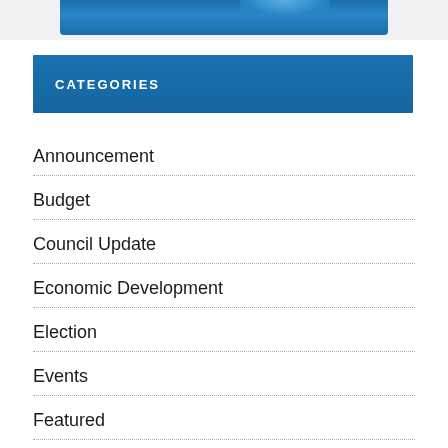[Figure (illustration): Blue banner/logo area at top of page, partially visible, with a blue gradient design.]
CATEGORIES
Announcement
Budget
Council Update
Economic Development
Election
Events
Featured